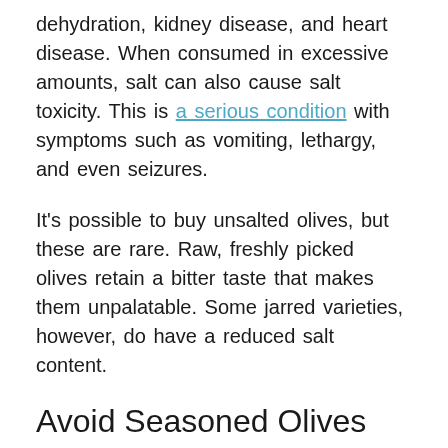dehydration, kidney disease, and heart disease. When consumed in excessive amounts, salt can also cause salt toxicity. This is a serious condition with symptoms such as vomiting, lethargy, and even seizures.
It's possible to buy unsalted olives, but these are rare. Raw, freshly picked olives retain a bitter taste that makes them unpalatable. Some jarred varieties, however, do have a reduced salt content.
Avoid Seasoned Olives
Jarred and pickled olives are sometimes coated or stuffed with other ingredients. Avoid giving seasoned or stuffed olives to your dog, as the